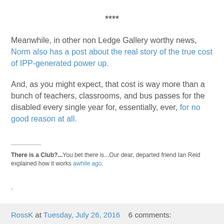****
Meanwhile, in other non Ledge Gallery worthy news, Norm also has a post about the real story of the true cost of IPP-generated power up.
And, as you might expect, that cost is way more than a bunch of teachers, classrooms, and bus passes for the disabled every single year for, essentially, ever, for no good reason at all.
There is a Club?...You bet there is...Our dear, departed friend Ian Reid explained how it works awhile ago.
.
RossK at Tuesday, July 26, 2016    6 comments: